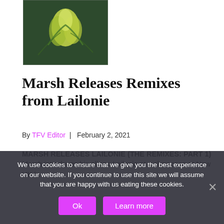[Figure (photo): Album cover art showing green plant/flower imagery on a dark background]
Marsh Releases Remixes from Lailonie
By TFV Editor | February 2, 2021
MARSH RELEASES LAILONIE (THE REMIXES: PART 1) Marsh introduces his album Lailonie at a showcase at New UK b...
We use cookies to ensure that we give you the best experience on our website. If you continue to use this site we will assume that you are happy with us eating these cookies.